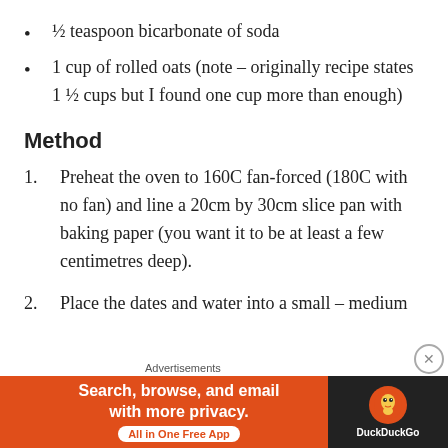½ teaspoon bicarbonate of soda
1 cup of rolled oats (note – originally recipe states 1 ½ cups but I found one cup more than enough)
Method
Preheat the oven to 160C fan-forced (180C with no fan) and line a 20cm by 30cm slice pan with baking paper (you want it to be at least a few centimetres deep).
Place the dates and water into a small – medium
[Figure (other): DuckDuckGo advertisement banner with text 'Search, browse, and email with more privacy. All in One Free App' and DuckDuckGo logo on dark background]